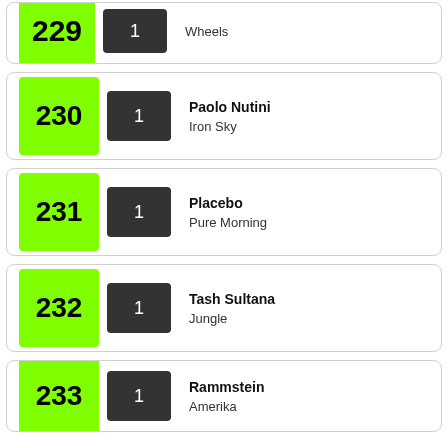229 | 1 | Wheels
230 | 1 | Paolo Nutini | Iron Sky
231 | 1 | Placebo | Pure Morning
232 | 1 | Tash Sultana | Jungle
233 | 1 | Rammstein | Amerika